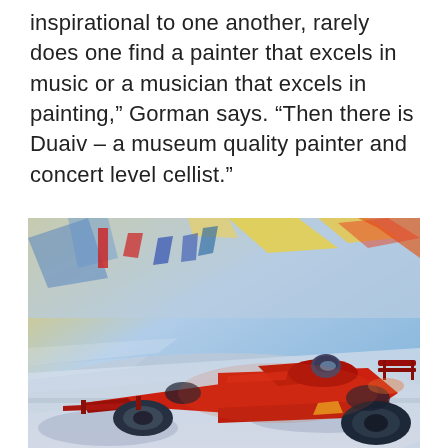inspirational to one another, rarely does one find a painter that excels in music or a musician that excels in painting,” Gorman says. “Then there is Duaiv – a museum quality painter and concert level cellist.”
[Figure (photo): An expressionist-style painting of a red Formula 1 racing car speeding along a track, with colourful blurred brushstrokes in the background suggesting speed and a vibrant race atmosphere.]